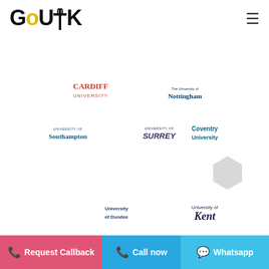GoUK
[Figure (illustration): Honeycomb grid of university logos including Cardiff University, University of Nottingham, University of Southampton, University of Surrey, Coventry University, University of Dundee, University of Kent, Warwick, University of Bradford, University of Leeds — yellow and grey hexagons]
Request Callback   Call now   Whatsapp